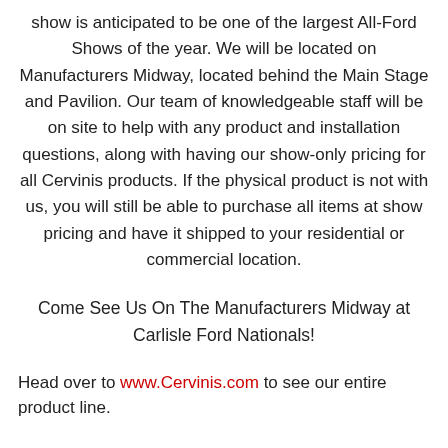show is anticipated to be one of the largest All-Ford Shows of the year. We will be located on Manufacturers Midway, located behind the Main Stage and Pavilion. Our team of knowledgeable staff will be on site to help with any product and installation questions, along with having our show-only pricing for all Cervinis products. If the physical product is not with us, you will still be able to purchase all items at show pricing and have it shipped to your residential or commercial location.
Come See Us On The Manufacturers Midway at Carlisle Ford Nationals!
Head over to www.Cervinis.com to see our entire product line.